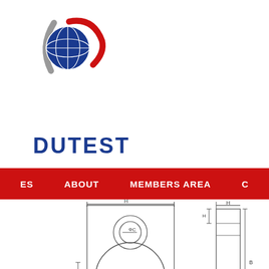[Figure (logo): Dutest globe logo with red swoosh and blue globe icon]
DUTEST
ES   ABOUT   MEMBERS AREA   C
[Figure (engineering-diagram): Technical engineering drawing of a lifting clamp or plate clamp mechanism showing front view with circular body, hook, pin holes, and dimension annotations H, C, E, B]